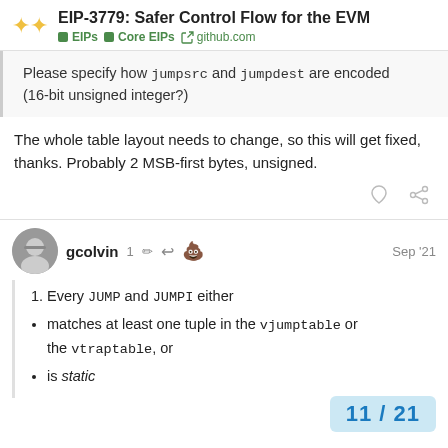EIP-3779: Safer Control Flow for the EVM — EIPs | Core EIPs | github.com
Please specify how jumpsrc and jumpdest are encoded (16-bit unsigned integer?)
The whole table layout needs to change, so this will get fixed, thanks. Probably 2 MSB-first bytes, unsigned.
gcolvin — 1 edit — Sep '21
1. Every JUMP and JUMPI either
matches at least one tuple in the vjumptable or the vtraptable, or
is static